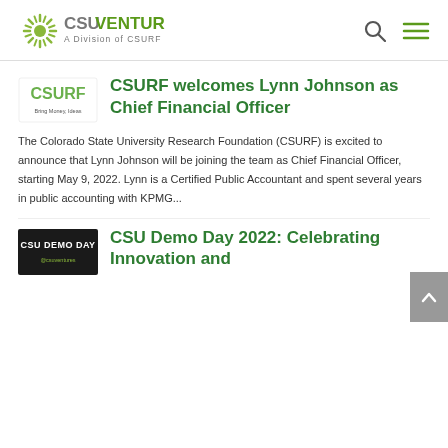CSU VENTURES — A Division of CSURF
[Figure (logo): CSURF logo with tagline 'Bring Money, Ideas']
CSURF welcomes Lynn Johnson as Chief Financial Officer
The Colorado State University Research Foundation (CSURF) is excited to announce that Lynn Johnson will be joining the team as Chief Financial Officer, starting May 9, 2022. Lynn is a Certified Public Accountant and spent several years in public accounting with KPMG...
[Figure (logo): CSU DEMO DAY logo]
CSU Demo Day 2022: Celebrating Innovation and